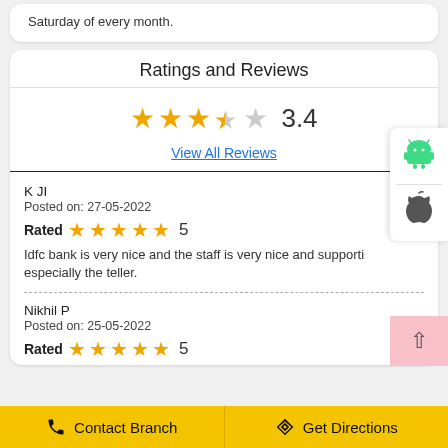Saturday of every month.
Ratings and Reviews
[Figure (other): Star rating display showing 3.4 out of 5 stars (3 full stars, 1 half star, 1 empty star) with numeric rating 3.4]
View All Reviews
K JI
Posted on: 27-05-2022
Rated ★★★★★ 5
Idfc bank is very nice and the staff is very nice and supporti especially the teller.
Nikhil P
Posted on: 25-05-2022
Rated ★★★★★ 5
Contact Branch   Get Directions